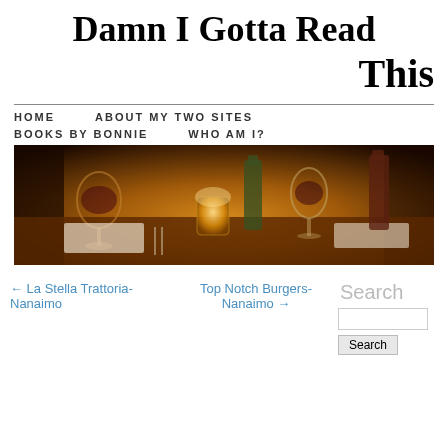Damn I Gotta Read This
HOME    ABOUT MY TWO SITES    BOOKS BY BONNIE    WHO AM I?
[Figure (photo): Restaurant table photo showing wine glasses, a lit candle in a glass holder, place settings, and wine bottles in warm amber lighting]
← La Stella Trattoria-Nanaimo
Top Notch Burgers-Nanaimo →
Search